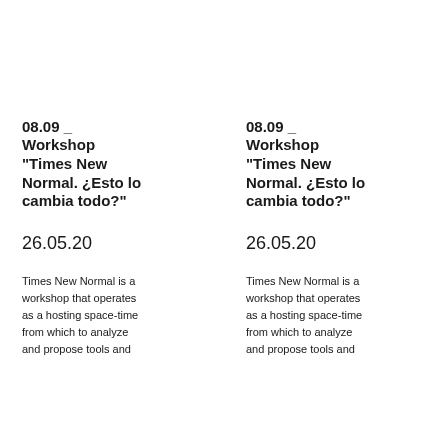08.09 _ Workshop “Times New Normal. ¿Esto lo cambia todo?”
26.05.20
Times New Normal is a workshop that operates as a hosting space-time from which to analyze and propose tools and
08.09 _ Workshop “Times New Normal. ¿Esto lo cambia todo?”
26.05.20
Times New Normal is a workshop that operates as a hosting space-time from which to analyze and propose tools and